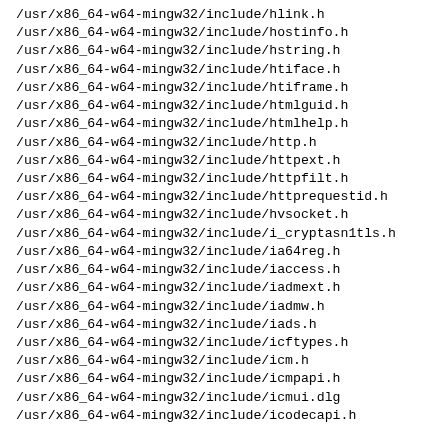/usr/x86_64-w64-mingw32/include/hlink.h
/usr/x86_64-w64-mingw32/include/hostinfo.h
/usr/x86_64-w64-mingw32/include/hstring.h
/usr/x86_64-w64-mingw32/include/htiface.h
/usr/x86_64-w64-mingw32/include/htiframe.h
/usr/x86_64-w64-mingw32/include/htmlguid.h
/usr/x86_64-w64-mingw32/include/htmlhelp.h
/usr/x86_64-w64-mingw32/include/http.h
/usr/x86_64-w64-mingw32/include/httpext.h
/usr/x86_64-w64-mingw32/include/httpfilt.h
/usr/x86_64-w64-mingw32/include/httprequestid.h
/usr/x86_64-w64-mingw32/include/hvsocket.h
/usr/x86_64-w64-mingw32/include/i_cryptasn1tls.h
/usr/x86_64-w64-mingw32/include/ia64reg.h
/usr/x86_64-w64-mingw32/include/iaccess.h
/usr/x86_64-w64-mingw32/include/iadmext.h
/usr/x86_64-w64-mingw32/include/iadmw.h
/usr/x86_64-w64-mingw32/include/iads.h
/usr/x86_64-w64-mingw32/include/icftypes.h
/usr/x86_64-w64-mingw32/include/icm.h
/usr/x86_64-w64-mingw32/include/icmpapi.h
/usr/x86_64-w64-mingw32/include/icmui.dlg
/usr/x86_64-w64-mingw32/include/icodecapi.h